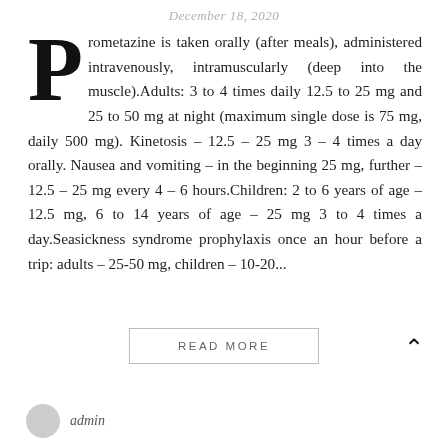December 18, 2020
Prometazine is taken orally (after meals), administered intravenously, intramuscularly (deep into the muscle).Adults: 3 to 4 times daily 12.5 to 25 mg and 25 to 50 mg at night (maximum single dose is 75 mg, daily 500 mg). Kinetosis – 12.5 – 25 mg 3 – 4 times a day orally. Nausea and vomiting – in the beginning 25 mg, further – 12.5 – 25 mg every 4 – 6 hours.Children: 2 to 6 years of age – 12.5 mg, 6 to 14 years of age – 25 mg 3 to 4 times a day.Seasickness syndrome prophylaxis once an hour before a trip: adults – 25-50 mg, children – 10-20...
READ MORE
admin